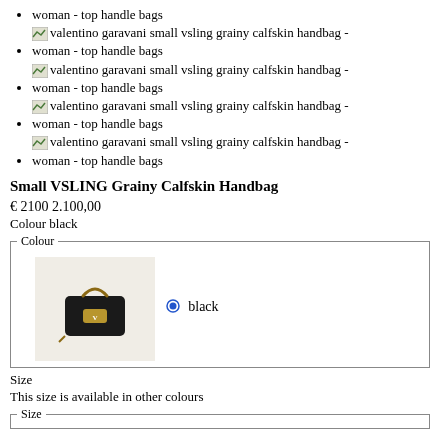woman - top handle bags
valentino garavani small vsling grainy calfskin handbag -
woman - top handle bags
valentino garavani small vsling grainy calfskin handbag -
woman - top handle bags
valentino garavani small vsling grainy calfskin handbag -
woman - top handle bags
valentino garavani small vsling grainy calfskin handbag -
woman - top handle bags
Small VSLING Grainy Calfskin Handbag
€ 2100 2.100,00
Colour black
[Figure (photo): A small black Valentino Garavani VSLING grainy calfskin handbag shown on a light beige background, with a top handle and gold logo clasp.]
black
Size
This size is available in other colours